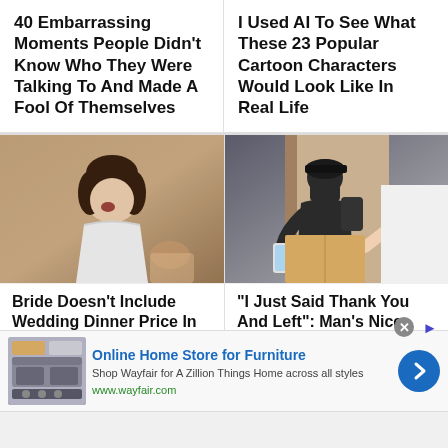40 Embarrassing Moments People Didn't Know Who They Were Talking To And Made A Fool Of Themselves
I Used AI To See What These 23 Popular Cartoon Characters Would Look Like In Real Life
[Figure (photo): Woman in white wedding dress with mouth open, looking shocked or upset, at what appears to be a wedding reception with curtains in the background]
[Figure (photo): Person in black outfit, cap, and face mask, looking at a phone while receiving a delivery package from another person]
Bride Doesn't Include Wedding Dinner Price In Her Wedding
"I Just Said Thank You And Left": Man's Nice Gesture Is Praised
[Figure (screenshot): Advertisement for Wayfair Online Home Store for Furniture with furniture image thumbnail, blue chevron button, and close button]
Online Home Store for Furniture
Shop Wayfair for A Zillion Things Home across all styles
www.wayfair.com